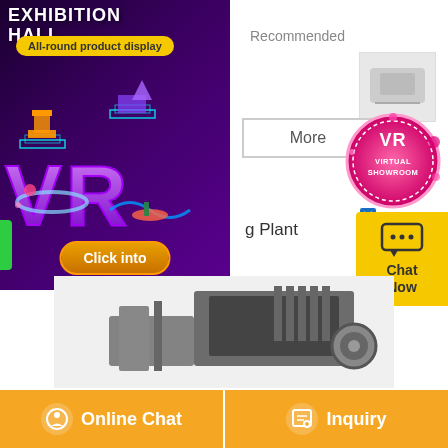[Figure (illustration): VR Exhibition Hall banner with purple background, '3D VR' letters, floating platform icons, 'All-round product display' badge, and 'Click into' button]
Recommended
[Figure (photo): Small product image top right]
More
[Figure (logo): VR Virtual Showroom circular badge logo in pink/red]
g Plant
[Figure (photo): Industrial machinery / cutting plant product image]
[Figure (infographic): Chat Now widget with speech bubble icon in yellow]
Online Chat
Inquiry